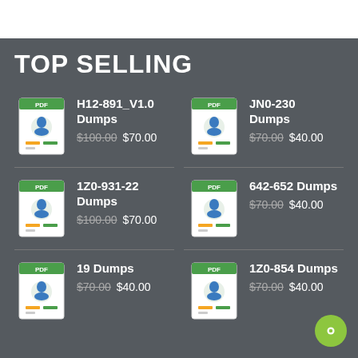TOP SELLING
H12-891_V1.0 Dumps $100.00 $70.00
JN0-230 Dumps $70.00 $40.00
1Z0-931-22 Dumps $100.00 $70.00
642-652 Dumps $70.00 $40.00
19 Dumps $70.00 $40.00
1Z0-854 Dumps $70.00 $40.00